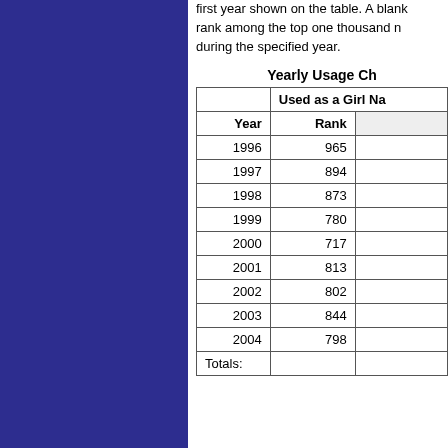first year shown on the table. A blank rank among the top one thousand n during the specified year.
Yearly Usage Ch
| Year | Used as a Girl Na (Rank) |  |
| --- | --- | --- |
| 1996 | 965 |  |
| 1997 | 894 |  |
| 1998 | 873 |  |
| 1999 | 780 |  |
| 2000 | 717 |  |
| 2001 | 813 |  |
| 2002 | 802 |  |
| 2003 | 844 |  |
| 2004 | 798 |  |
| Totals: |  |  |